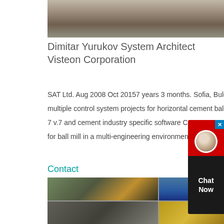[Figure (photo): Top partial photo of rocks/rubble on ground]
Dimitar Yurukov System Architect Visteon Corporation
SAT Ltd. Aug 2008 Oct 20157 years 3 months. Sofia, Bulgaria. Experience: • Developed multiple control system projects for horizontal cement ball mills, realized with Siemens PCS 7 v.7 and cement industry specific software CEMAT. • Developed control system software for ball mill in a multi-engineering environment with PCS7, v.
Contact
[Figure (photo): Grid of four construction/heavy machinery photos: excavators, crusher debris, gravel piles]
[Figure (other): Chat Now widget with red background and dark chat text area]